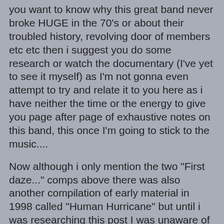you want to know why this great band never broke HUGE in the 70's or about their troubled history, revolving door of members etc etc then i suggest you do some research or watch the documentary (I've yet to see it myself) as I'm not gonna even attempt to try and relate it to you here as i have neither the time or the energy to give you page after page of exhaustive notes on this band, this once I'm going to stick to the music....
Now although i only mention the two "First daze..." comps above there was also another compilation of early material in 1998 called "Human Hurricane" but until i was researching this post I was unaware of it as it's on a Canadian label I have never heard of and from what i can gather did NOT have the bands approval. So what i present here is a fairly complete (as far as what has yet been released) collection of Pentagram's earliest recordings. Anyone who is a fan of Pentagram and has not heard this 70's stuff you'll be in for a shock this is a band very far removed from the same band that recorded bludgeoning tracks like "All Of Your Sins" from the first album and quite a few of these tracks have seen very doomy remakes on subsequent albums however for me